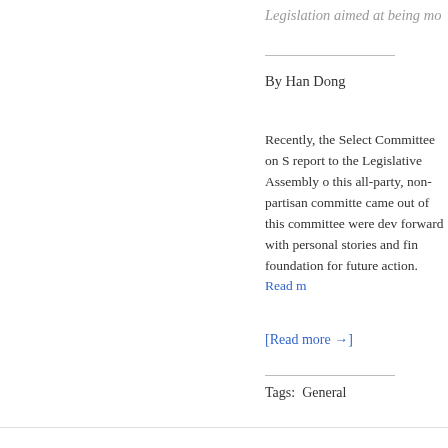Legislation aimed at being mo
By Han Dong
Recently, the Select Committee on S report to the Legislative Assembly o this all-party, non-partisan committe came out of this committee were dev forward with personal stories and fin foundation for future action.  Read m
[Read more →]
Tags:  General